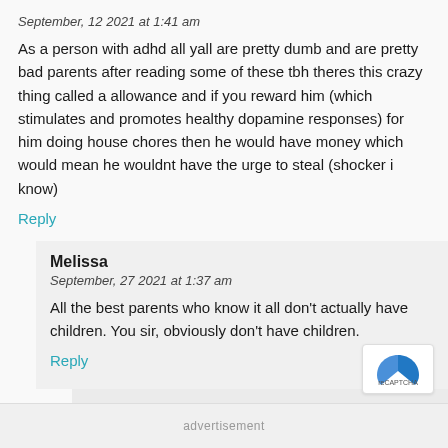September, 12 2021 at 1:41 am
As a person with adhd all yall are pretty dumb and are pretty bad parents after reading some of these tbh theres this crazy thing called a allowance and if you reward him (which stimulates and promotes healthy dopamine responses) for him doing house chores then he would have money which would mean he wouldnt have the urge to steal (shocker i know)
Reply
Melissa
September, 27 2021 at 1:37 am
All the best parents who know it all don't actually have children. You sir, obviously don't have children.
Reply
Linz
advertisement